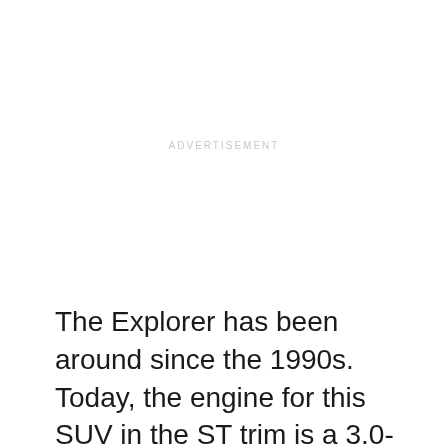[Figure (other): Advertisement placeholder area with 'ADVERTISEMENT' label in light gray text]
The Explorer has been around since the 1990s. Today, the engine for this SUV in the ST trim is a 3.0-liter EcoBoost that pumps out 400 hp. This enables the vehicle to move 0-60 mph in